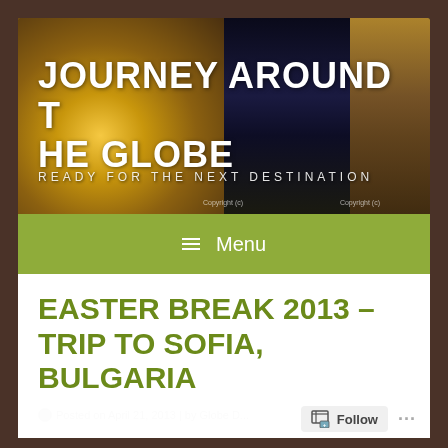[Figure (illustration): Travel blog banner image showing 'Journey Around The Globe' with subtitle 'Ready For The Next Destination'. Left half shows the Trevi Fountain in golden light, right half shows a city at night (Budapest parliament), with a minaret/tower on the far right.]
≡ Menu
EASTER BREAK 2013 – TRIP TO SOFIA, BULGARIA
Posted on April 21, 2013 | by Globe D...